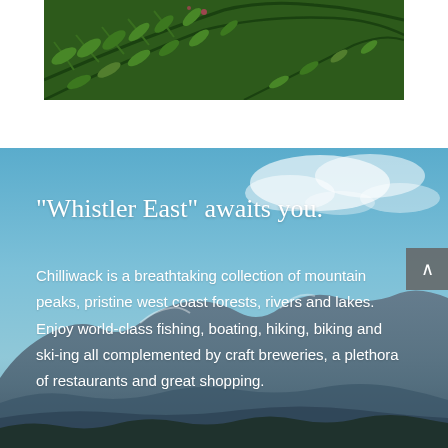[Figure (photo): Close-up photo of green fern leaves against a white background, cropped at top]
[Figure (photo): Mountain landscape with blue sky and clouds, mountains visible at bottom, serving as background for promotional text about Chilliwack]
“Whistler East” awaits you.
Chilliwack is a breathtaking collection of mountain peaks, pristine west coast forests, rivers and lakes. Enjoy world-class fishing, boating, hiking, biking and ski-ing all complemented by craft breweries, a plethora of restaurants and great shopping.